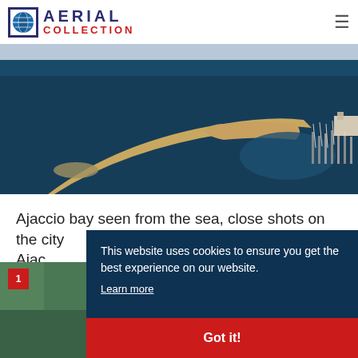AERIAL COLLECTION
[Figure (photo): Aerial view of Ajaccio bay harbor, showing a curved breakwater/jetty extending into dark blue sea water, with boats moored at right.]
Ajaccio bay seen from the sea, close shots on the city
Ajaccio, France
[Figure (photo): Partially visible aerial photo thumbnail with red badge labeled '1', showing green forested coastline.]
This website uses cookies to ensure you get the best experience on our website. Learn more
Got it!